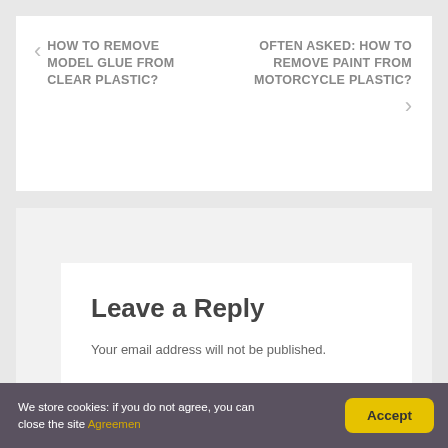< HOW TO REMOVE MODEL GLUE FROM CLEAR PLASTIC?
OFTEN ASKED: HOW TO REMOVE PAINT FROM MOTORCYCLE PLASTIC? >
Leave a Reply
Your email address will not be published.
We store cookies: if you do not agree, you can close the site Agreemen